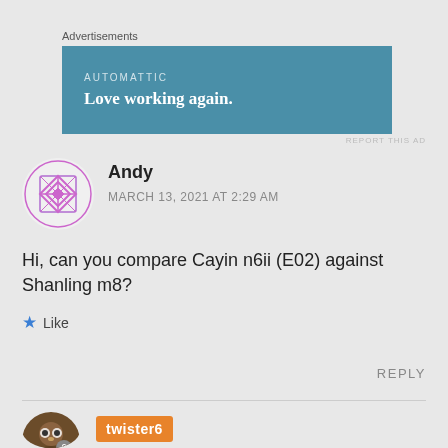[Figure (infographic): Automattic advertisement banner with blue background, showing 'AUTOMATTIC' in small caps and 'Love working again.' in white bold text]
Andy
MARCH 13, 2021 AT 2:29 AM
Hi, can you compare Cayin n6ii (E02) against Shanling m8?
Like
REPLY
twister6